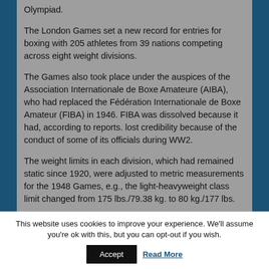Olympiad.
The London Games set a new record for entries for boxing with 205 athletes from 39 nations competing across eight weight divisions.
The Games also took place under the auspices of the Association Internationale de Boxe Amateure (AIBA), who had replaced the Fédération Internationale de Boxe Amateur (FIBA) in 1946. FIBA was dissolved because it had, according to reports. lost credibility because of the conduct of some of its officials during WW2.
The weight limits in each division, which had remained static since 1920, were adjusted to metric measurements for the 1948 Games, e.g., the light-heavyweight class limit changed from 175 lbs./79.38 kg. to 80 kg./177 lbs.
The venue for boxing at the 1948 Games was
This website uses cookies to improve your experience. We'll assume you're ok with this, but you can opt-out if you wish.